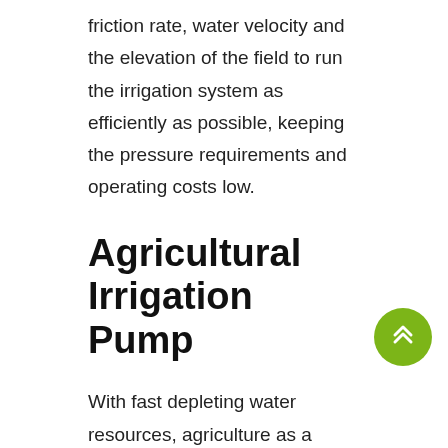friction rate, water velocity and the elevation of the field to run the irrigation system as efficiently as possible, keeping the pressure requirements and operating costs low.
Agricultural Irrigation Pump
With fast depleting water resources, agriculture as a profession has become challenging. Otech Irrigation provides sustainable solutions for your needs through our customised agricultural irrigation pump system, which ensures your needs are met with total ease. Our Centre Pivot irrigation